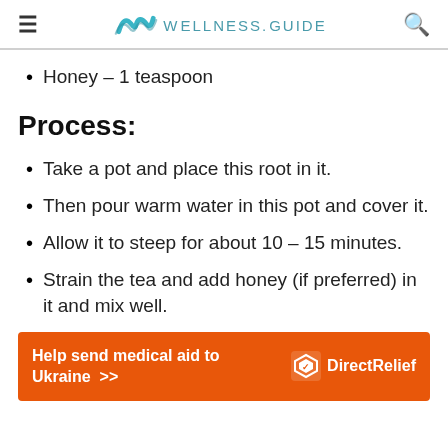WELLNESS.GUIDE
Honey – 1 teaspoon
Process:
Take a pot and place this root in it.
Then pour warm water in this pot and cover it.
Allow it to steep for about 10 – 15 minutes.
Strain the tea and add honey (if preferred) in it and mix well.
[Figure (other): Orange advertisement banner: Help send medical aid to Ukraine >> with Direct Relief logo]